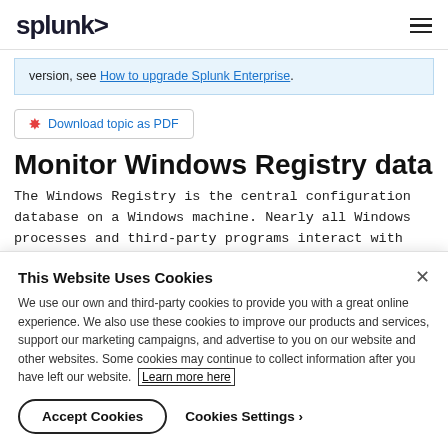splunk>
version, see How to upgrade Splunk Enterprise.
Download topic as PDF
Monitor Windows Registry data
The Windows Registry is the central configuration database on a Windows machine. Nearly all Windows processes and third-party programs interact with it. Without a healthy Registry, Windows does
This Website Uses Cookies
We use our own and third-party cookies to provide you with a great online experience. We also use these cookies to improve our products and services, support our marketing campaigns, and advertise to you on our website and other websites. Some cookies may continue to collect information after you have left our website. Learn more here
Accept Cookies
Cookies Settings ›